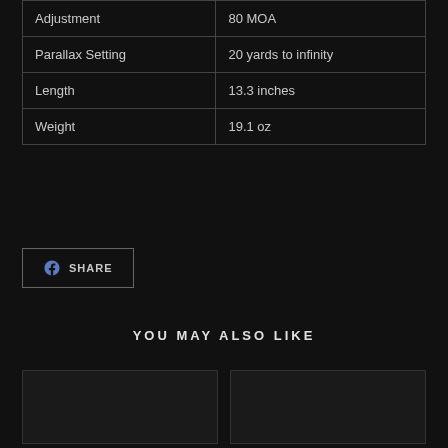| Feature | Value |
| --- | --- |
| Adjustment | 80 MOA |
| Parallax Setting | 20 yards to infinity |
| Length | 13.3 inches |
| Weight | 19.1 oz |
SHARE
YOU MAY ALSO LIKE